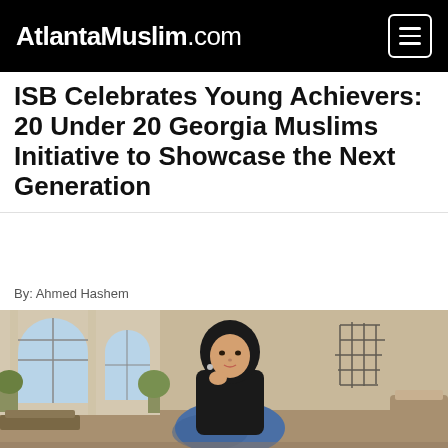AtlantaMuslim.com
ISB Celebrates Young Achievers: 20 Under 20 Georgia Muslims Initiative to Showcase the Next Generation
By: Ahmed Hashem
[Figure (photo): Young woman wearing a black hijab and black top with blue patterned skirt, sitting in an elegantly decorated room with arched windows]